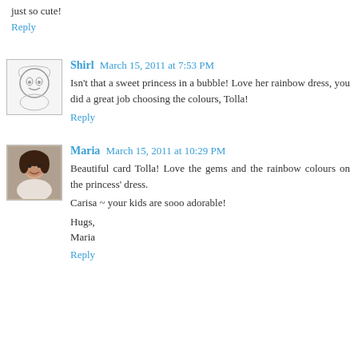just so cute!
Reply
Shirl March 15, 2011 at 7:53 PM
Isn't that a sweet princess in a bubble! Love her rainbow dress, you did a great job choosing the colours, Tolla!
Reply
Maria March 15, 2011 at 10:29 PM
Beautiful card Tolla! Love the gems and the rainbow colours on the princess' dress.

Carisa ~ your kids are sooo adorable!

Hugs,
Maria
Reply